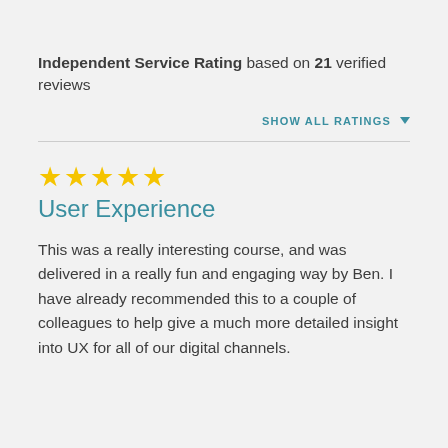Independent Service Rating based on 21 verified reviews
SHOW ALL RATINGS
[Figure (other): Five yellow star rating icons]
User Experience
This was a really interesting course, and was delivered in a really fun and engaging way by Ben. I have already recommended this to a couple of colleagues to help give a much more detailed insight into UX for all of our digital channels.